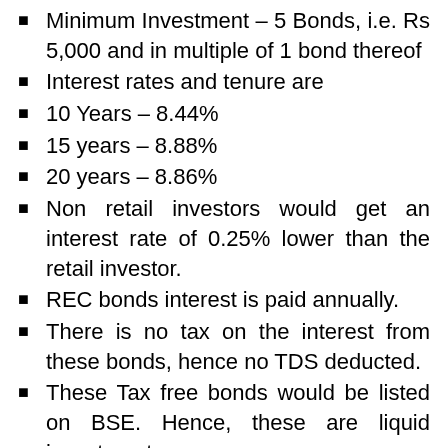Minimum Investment – 5 Bonds, i.e. Rs 5,000 and in multiple of 1 bond thereof
Interest rates and tenure are
10 Years – 8.44%
15 years – 8.88%
20 years – 8.86%
Non retail investors would get an interest rate of 0.25% lower than the retail investor.
REC bonds interest is paid annually.
There is no tax on the interest from these bonds, hence no TDS deducted.
These Tax free bonds would be listed on BSE. Hence, these are liquid investments.
Non-Resident Indians (NRI's) can invest in these REC Tax free bonds on repatraion and non-repatriation
You can apply in demat form or physical